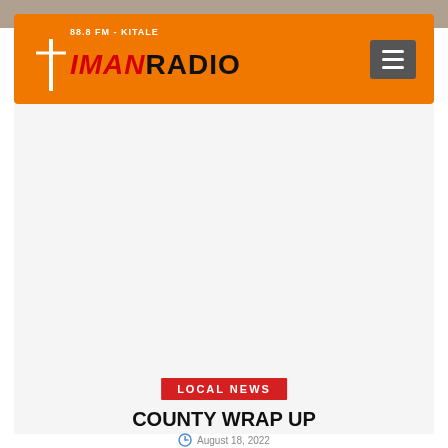[Figure (screenshot): Photo strip background at top of page]
88.8 FM - KITALE  IMAN RADIO
[Figure (logo): Iman Radio logo with cross icon, orange background, hamburger menu on right]
[Figure (photo): Large light grey/white content area placeholder]
LOCAL NEWS
COUNTY WRAP UP
August 18, 2022